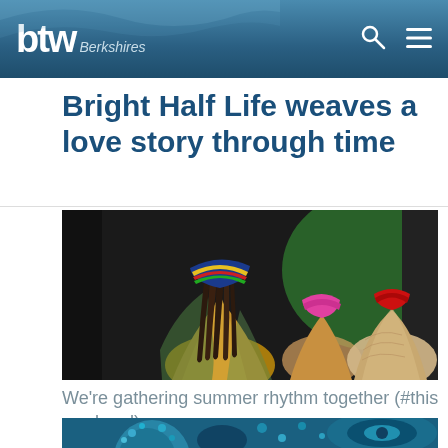btw Berkshires
Bright Half Life weaves a love story through time
[Figure (photo): Three performers seen from behind wearing colorful headscarves and flowing costumes, on a stage with dark and green background.]
We’re gathering summer rhythm together (#this weekend)
[Figure (photo): Colorful decorative fabric or mosaic artwork with blue and teal tones, partially visible at bottom of page.]